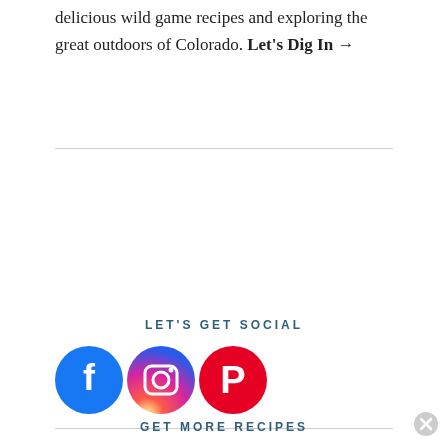delicious wild game recipes and exploring the great outdoors of Colorado. Let's Dig In →
LET'S GET SOCIAL
[Figure (illustration): Three social media icons: Facebook (blue circle with white f), Instagram (gradient circle with white camera icon), Pinterest (red circle with white P)]
GET MORE RECIPES